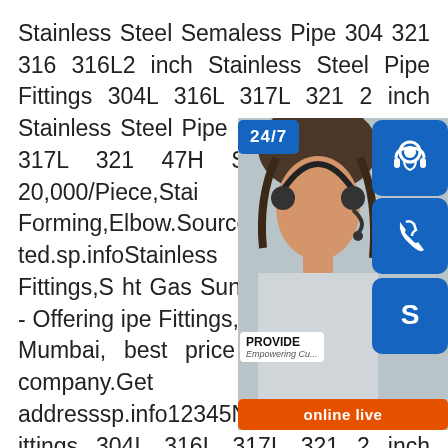Stainless Steel Semaless Pipe 304 321 316 316L2 inch Stainless Steel Pipe Fittings 304L 316L 317L 321 2 inch Stainless Steel Pipe Fittings 304L 316L 317L 321 47H SAF2205,USD 1-20,000/Piece,Stai Forming,Elbow.Source from Yaang Pipe ted.sp.infoStainless Steel Pipe Fittings,S ht Gas Sunlight Gas Systems - Offering ipe Fittings,Size 2 inch in Navi Mumbai, best price and read about company.Get nd addresssp.info12345Next2 inch Stain ittings 304L 316L 317L 321 2 inch Stainless Steel Pipe Fittings 304L 316L 317L 321 310S 347H SAF2205,USD 1-20,000/Piece,Stainless Steel,Cold Forming,Elbow.Source from Yaang Pipe Industry Co.,Limited.sp.infoASTM a403 WP347 Buttweld Pipe Fittings,Stainless steel
[Figure (infographic): Customer service panel with 24/7 badge, headset lady photo, three blue icon buttons (headset, phone, Skype), PROVIDE Empowering Customers text, and orange 'online live' button]